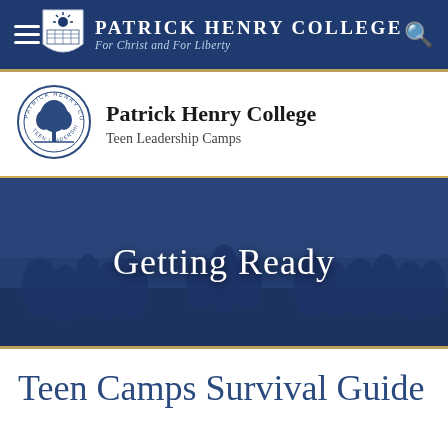Patrick Henry College — For Christ and For Liberty
[Figure (logo): Patrick Henry College circular seal logo with tree, Teen Leadership Camps]
Patrick Henry College
Teen Leadership Camps
[Figure (photo): Group photo of teens and counselors outdoors with blue overlay, captioned Getting Ready]
Teen Camps Survival Guide